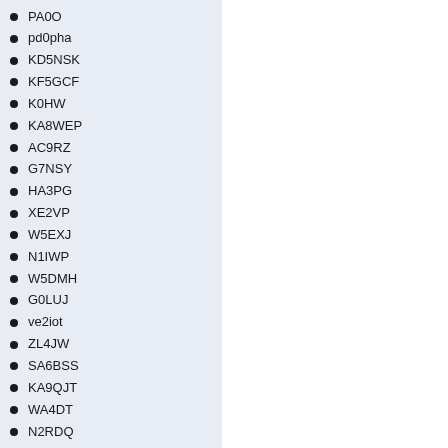PA0O
pd0pha
KD5NSK
KF5GCF
K0HW
KA8WEP
AC9RZ
G7NSY
HA3PG
XE2VP
W5EXJ
N1IWP
W5DMH
G0LUJ
ve2iot
ZL4JW
SA6BSS
KA9QJT
WA4DT
N2RDQ
DG7CF
kb1hfg
N5ODX
ik2jet
W0yse
G6ORN